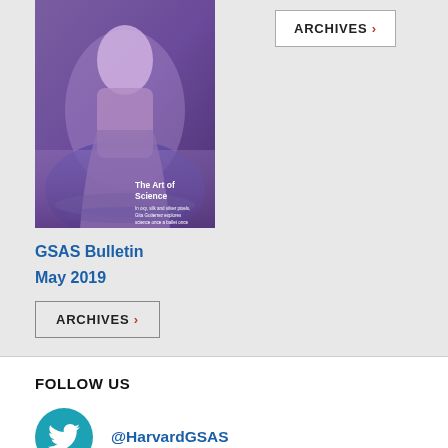[Figure (photo): Magazine cover of GSAS Bulletin showing a woman in purple dress standing in water with text 'The Art of Science']
[Figure (other): ARCHIVES button with right arrow chevron in red on light gray background]
GSAS Bulletin
May 2019
ARCHIVES >
FOLLOW US
@HarvardGSAS
Harvard GSAS on Facebook